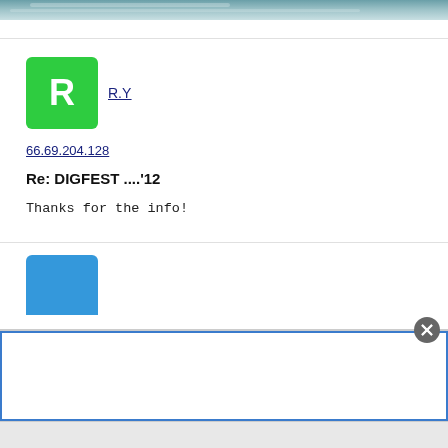[Figure (photo): Partial top image showing water or road scene with blue-gray tones]
R.Y
66.69.204.128
Re: DIGFEST ....'12
Thanks for the info!
[Figure (other): Blue avatar icon, partial view at bottom of page]
[Figure (screenshot): Advertisement overlay with close button at bottom of page]